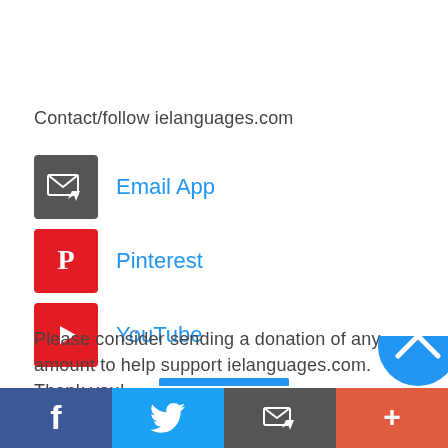Contact/follow ielanguages.com
[Figure (infographic): Email App icon - dark gray square with envelope and cursor icon]
Email App
[Figure (logo): Pinterest icon - red square with white P logo]
Pinterest
[Figure (logo): YouTube icon - red square with white play button]
YouTube
Please consider sending a donation of any amount to help support ielanguages.com. Thank you!
Facebook | Twitter | Email App | More